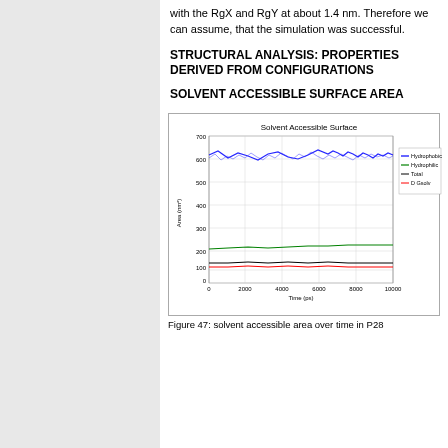with the RgX and RgY at about 1.4 nm. Therefore we can assume, that the simulation was successful.
STRUCTURAL ANALYSIS: PROPERTIES DERIVED FROM CONFIGURATIONS
SOLVENT ACCESSIBLE SURFACE AREA
[Figure (line-chart): Line chart showing solvent accessible surface area over time (~0-10000 ps). Four lines: Hydrophobic (blue, ~560-600 nm²), Hydrophilic (green, ~160-175 nm²), Total (black, ~90-100 nm²), D Gsolv (red, ~75-85 nm²). Y-axis from 0 to 700.]
Figure 47: solvent accessible area over time in P28